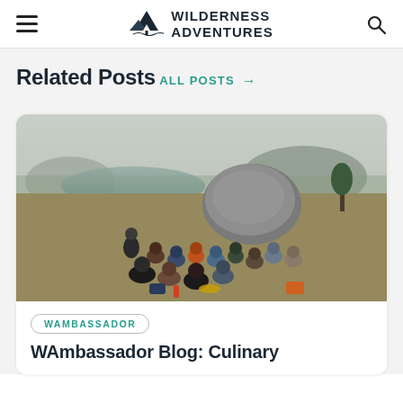WILDERNESS ADVENTURES
Related Posts
ALL POSTS →
[Figure (photo): Group of campers sitting in a circle on an open meadow near a lake and large boulder, with a person standing and leading the group. Outdoor wilderness setting.]
WAMBASSADOR
WAmbassador Blog: Culinary